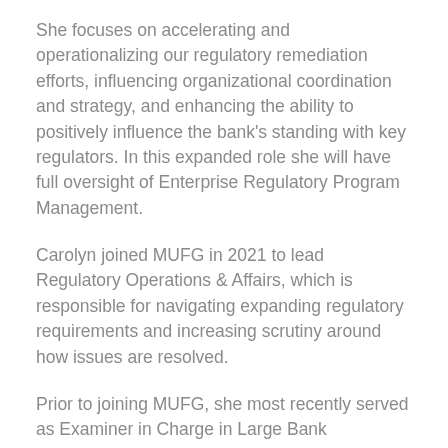She focuses on accelerating and operationalizing our regulatory remediation efforts, influencing organizational coordination and strategy, and enhancing the ability to positively influence the bank's standing with key regulators. In this expanded role she will have full oversight of Enterprise Regulatory Program Management.
Carolyn joined MUFG in 2021 to lead Regulatory Operations & Affairs, which is responsible for navigating expanding regulatory requirements and increasing scrutiny around how issues are resolved.
Prior to joining MUFG, she most recently served as Examiner in Charge in Large Bank Supervision with the OCC, where she was responsible for the supervisory oversight of a large financial institution with foreign ownership and all that entails. Previously, she was Deputy Comptroller for Operational Risk and Core